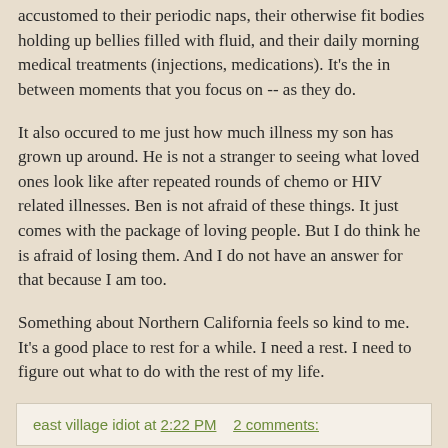accustomed to their periodic naps, their otherwise fit bodies holding up bellies filled with fluid, and their daily morning medical treatments (injections, medications). It's the in between moments that you focus on -- as they do.
It also occured to me just how much illness my son has grown up around. He is not a stranger to seeing what loved ones look like after repeated rounds of chemo or HIV related illnesses. Ben is not afraid of these things. It just comes with the package of loving people. But I do think he is afraid of losing them. And I do not have an answer for that because I am too.
Something about Northern California feels so kind to me. It's a good place to rest for a while. I need a rest. I need to figure out what to do with the rest of my life.
east village idiot at 2:22 PM   2 comments:
Thursday, June 08, 2006
Crazed